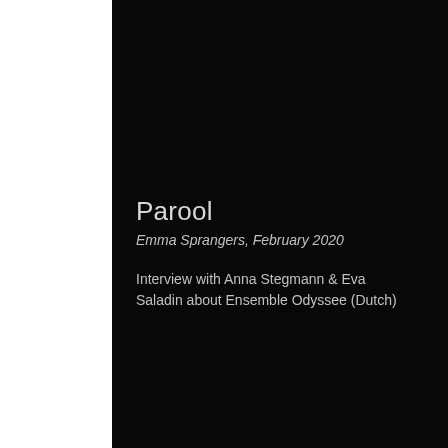Parool
Emma Sprangers, February 2020
Interview with Anna Stegmann & Eva Saladin about Ensemble Odyssee (Dutch)